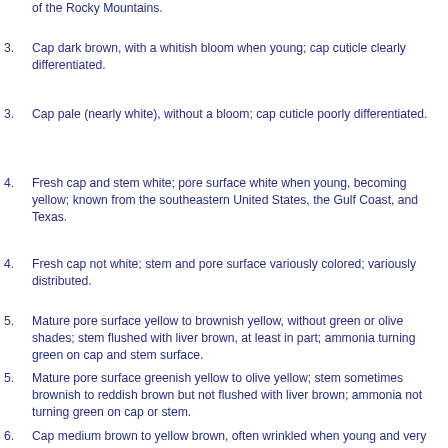of the Rocky Mountains.
3. Cap dark brown, with a whitish bloom when young; cap cuticle clearly differentiated.
3. Cap pale (nearly white), without a bloom; cap cuticle poorly differentiated.
4. Fresh cap and stem white; pore surface white when young, becoming yellow; known from the southeastern United States, the Gulf Coast, and Texas.
4. Fresh cap not white; stem and pore surface variously colored; variously distributed.
5. Mature pore surface yellow to brownish yellow, without green or olive shades; stem flushed with liver brown, at least in part; ammonia turning green on cap and stem surface.
5. Mature pore surface greenish yellow to olive yellow; stem sometimes brownish to reddish brown but not flushed with liver brown; ammonia not turning green on cap or stem.
6. Cap medium brown to yellow brown, often wrinkled when young and very finely patchy when mature; ammonia turning purple on